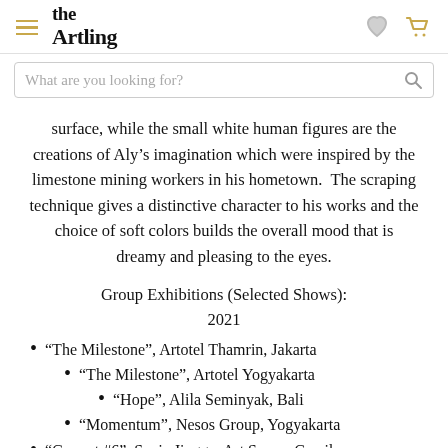the Artling
surface, while the small white human figures are the creations of Aly’s imagination which were inspired by the limestone mining workers in his hometown. The scraping technique gives a distinctive character to his works and the choice of soft colors builds the overall mood that is dreamy and pleasing to the eyes.
Group Exhibitions (Selected Shows):
2021
“The Milestone”, Artotel Thamrin, Jakarta
“The Milestone”, Artotel Yogyakarta
“Hope”, Alila Seminyak, Bali
“Momentum”, Nesos Group, Yogyakarta
“Gresart #6”, Senja Jingga, Art Space, Gresik
“Art Fo...